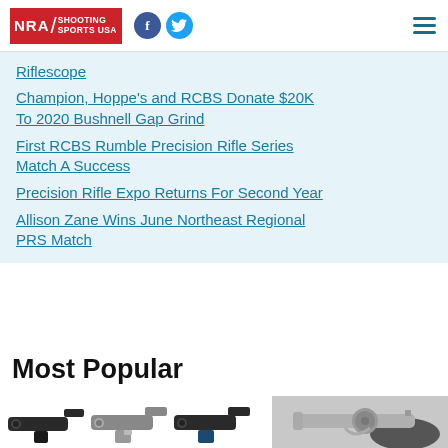NRA Shooting Sports USA
Riflescope
Champion, Hoppe's and RCBS Donate $20K To 2020 Bushnell Gap Grind
First RCBS Rumble Precision Rifle Series Match A Success
Precision Rifle Expo Returns For Second Year
Allison Zane Wins June Northeast Regional PRS Match
Most Popular
[Figure (photo): Grid of handguns and firearms for Most Popular section, showing multiple pistol/revolver images in two rows]